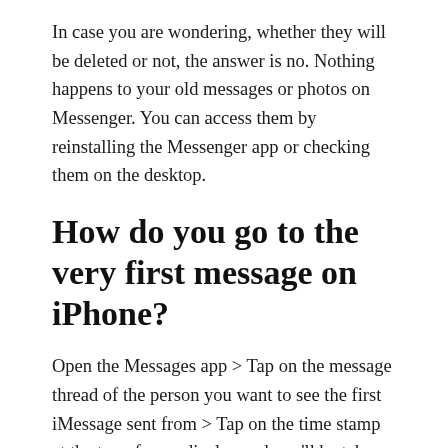In case you are wondering, whether they will be deleted or not, the answer is no. Nothing happens to your old messages or photos on Messenger. You can access them by reinstalling the Messenger app or checking them on the desktop.
How do you go to the very first message on iPhone?
Open the Messages app > Tap on the message thread of the person you want to see the first iMessage sent from > Tap on the time stamp at the top of your display and you'll be taken to the first message. This trick also works to get you back to your most recent message threads if you have scrolled down.
How do you go to...